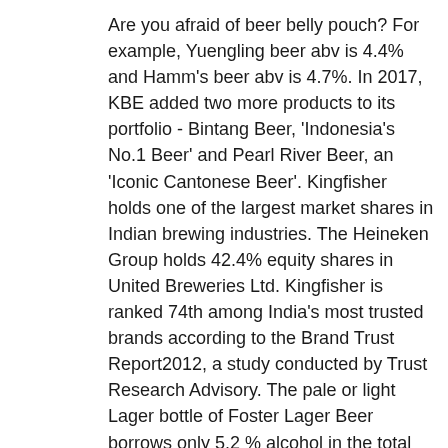Are you afraid of beer belly pouch? For example, Yuengling beer abv is 4.4% and Hamm's beer abv is 4.7%. In 2017, KBE added two more products to its portfolio - Bintang Beer, 'Indonesia's No.1 Beer' and Pearl River Beer, an 'Iconic Cantonese Beer'. Kingfisher holds one of the largest market shares in Indian brewing industries. The Heineken Group holds 42.4% equity shares in United Breweries Ltd. Kingfisher is ranked 74th among India's most trusted brands according to the Brand Trust Report2012, a study conducted by Trust Research Advisory. The pale or light Lager bottle of Foster Lager Beer borrows only 5.2 % alcohol in the total content of beer. The result is a fully matured lager of exceptional quality. Peroni Beer Pint 330ml St Bernardus 6 Beer 330ml DrinkersStop is created to help people find the best drinks and discover the best places to drink around them. Brewed by: United Brewery Group in Bangalore, India. Kingfisher Beer Price in India (2019) Kingfisher beer price is cheaper in India as compared to other countries. United Breweries' stable of brands includes Kingfisher Strong and Draught as well as milder variants such as Ultra. For such high alcohol